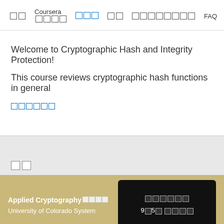□□  Coursera □□□□  □□□  □□  □□□□□□□□□  FAQ
Welcome to Cryptographic Hash and Integrity Protection!
This course reviews cryptographic hash functions in general
□□□□□□
[Figure (other): Gray banner area with two boxes placeholder]
Applied Cryptography□□□□ University of Colorado System | □□□□□□ 9□5□ □□□□